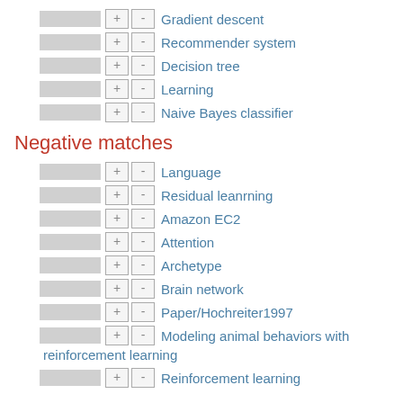Gradient descent
Recommender system
Decision tree
Learning
Naive Bayes classifier
Negative matches
Language
Residual leanrning
Amazon EC2
Attention
Archetype
Brain network
Paper/Hochreiter1997
Modeling animal behaviors with reinforcement learning
Reinforcement learning